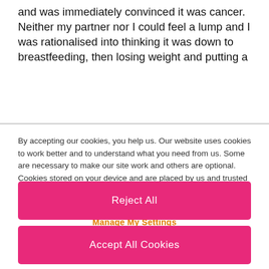and was immediately convinced it was cancer. Neither my partner nor I could feel a lump and I was rationalised into thinking it was down to breastfeeding, then losing weight and putting a
By accepting our cookies, you help us. Our website uses cookies to work better and to understand what you need from us. Some are necessary to make our site work and others are optional. Cookies stored on your device and are placed by us and trusted partners. If you're OK with us using cookies in this way, please accept the recommended settings. View our Cookie Policy
Manage My Settings
Reject All
Accept All Cookies